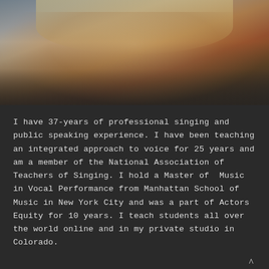[Figure (photo): Portrait photo of a woman with blond hair wearing a brown/tan leather jacket and red top, photographed against a blurred teal/grey background]
I have 37-years of professional singing and public speaking experience. I have been teaching an integrated approach to voice for 25 years and am a member of the National Association of Teachers of Singing. I hold a Master of Music in Vocal Performance from Manhattan School of Music in New York City and was a part of Actors Equity for 10 years. I teach students all over the world online and in my private studio in Colorado.
My work is dedicated to sharing ideas, techniques, tools, and resources to help you embody the voice you've always wanted.